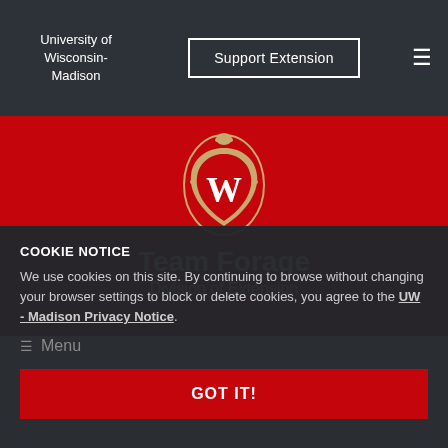University of Wisconsin-Madison
Support Extension
[Figure (logo): University of Wisconsin-Madison crest/seal with W on red shield and decorative border]
Team Forage
Division of Extension
COOKIE NOTICE
We use cookies on this site. By continuing to browse without changing your browser settings to block or delete cookies, you agree to the UW - Madison Privacy Notice.
Menu
GOT IT!